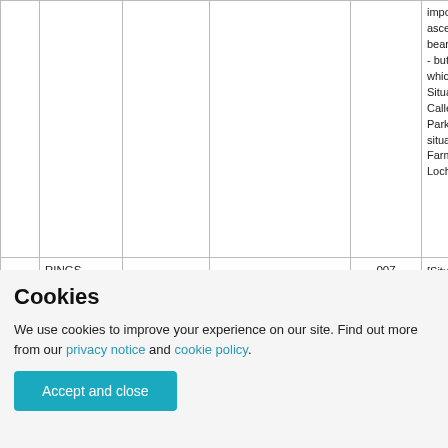|  |  |  |  | impossible to ascertain. It bears no name -- but the field in which it is Situated is Called the Rings Park It is situated on the Farm of Lochurd. |
| RINGS PARK |  |  | 007 | [Situation] About ½ Mile S.E.[South... |
Cookies
We use cookies to improve your experience on our site. Find out more from our privacy notice and cookie policy.
Accept and close